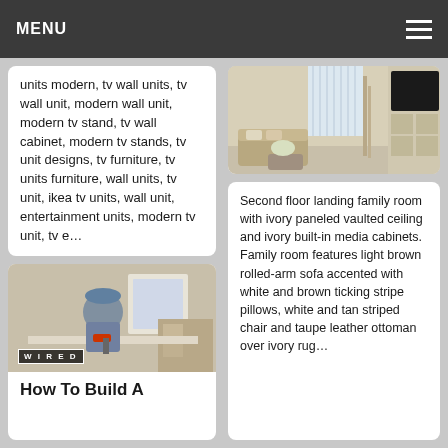MENU
units modern, tv wall units, tv wall unit, modern wall unit, modern tv stand, tv wall cabinet, modern tv stands, tv unit designs, tv furniture, tv units furniture, wall units, tv unit, ikea tv units, wall unit, entertainment units, modern tv unit, tv e…
[Figure (photo): Second floor landing family room with ivory paneled vaulted ceiling and ivory built-in media cabinets with TV]
Second floor landing family room with ivory paneled vaulted ceiling and ivory built-in media cabinets. Family room features light brown rolled-arm sofa accented with white and brown ticking stripe pillows, white and tan striped chair and taupe leather ottoman over ivory rug…
[Figure (photo): Person working with power drill at workbench, WIRED logo overlay]
How To Build A